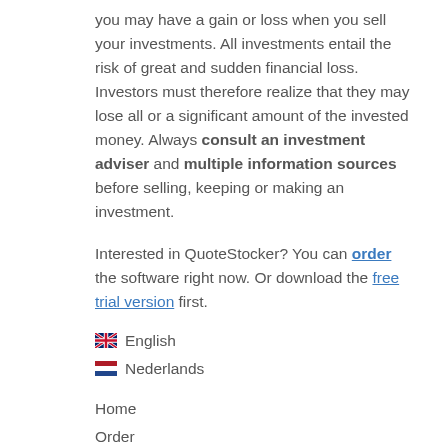you may have a gain or loss when you sell your investments. All investments entail the risk of great and sudden financial loss. Investors must therefore realize that they may lose all or a significant amount of the invested money. Always consult an investment adviser and multiple information sources before selling, keeping or making an investment.
Interested in QuoteStocker? You can order the software right now. Or download the free trial version first.
🇬🇧 English
🇳🇱 Nederlands
Home
Order
Download free stock quotes with QuoteStocker